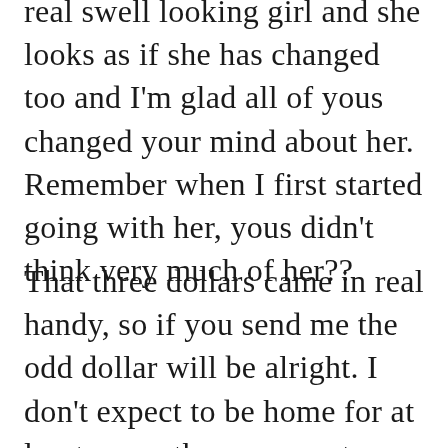real swell looking girl and she looks as if she has changed too and I'm glad all of yous changed your mind about her. Remember when I first started going with her, yous didn't think very much of her??
That three dollars came in real handy, so if you send me the odd dollar will be alright. I don't expect to be home for at least a month so my next cheque will be the one to bring me home. Everybody should be home by then, it will be better anyway because everybody is over